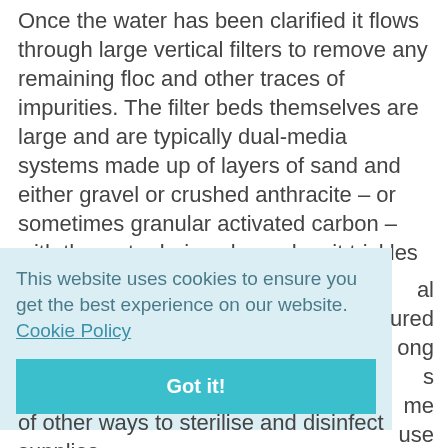Once the water has been clarified it flows through large vertical filters to remove any remaining floc and other traces of impurities. The filter beds themselves are large and are typically dual-media systems made up of layers of sand and either gravel or crushed anthracite – or sometimes granular activated carbon – with the water being cleaned as it trickles down through the gaps between the particles.
This website uses cookies to ensure you get the best experience on our website. Cookie Policy Got it!
al ured ong s me use
of other ways to sterilise and disinfect supplies,